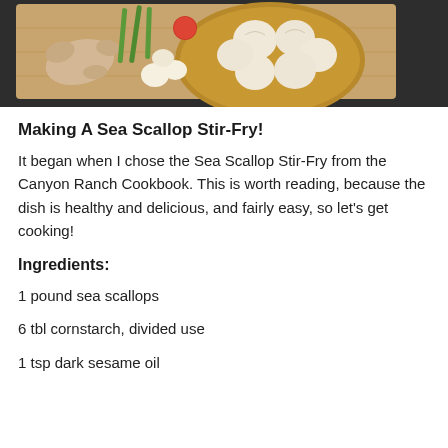[Figure (photo): A wooden cutting board with scallops on a bronze plate, ginger root, garlic, green vegetables and other ingredients arranged for a stir-fry dish.]
Making A Sea Scallop Stir-Fry!
It began when I chose the Sea Scallop Stir-Fry from the Canyon Ranch Cookbook. This is worth reading, because the dish is healthy and delicious, and fairly easy, so let's get cooking!
Ingredients:
1 pound sea scallops
6 tbl cornstarch, divided use
1 tsp dark sesame oil